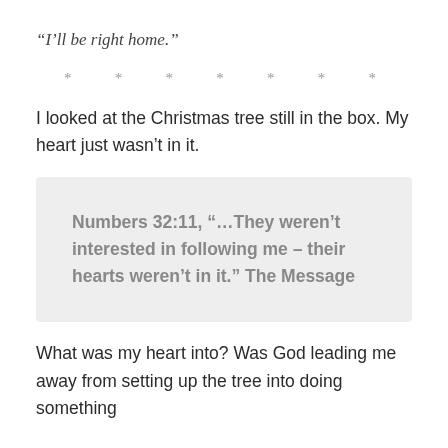“I’ll be right home.”
* * * * * * *
I looked at the Christmas tree still in the box. My heart just wasn’t in it.
Numbers 32:11, “…They weren’t interested in following me – their hearts weren’t in it.” The Message
What was my heart into? Was God leading me away from setting up the tree into doing something